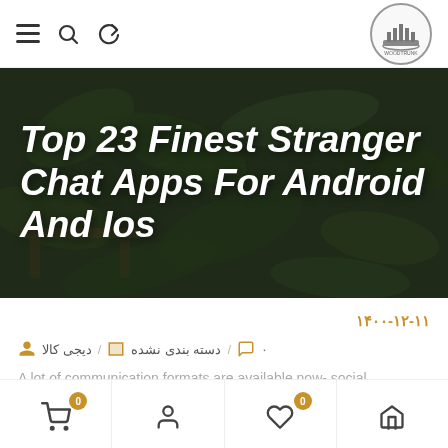Navigation bar with hamburger menu, search, refresh icons and logo
[Figure (photo): Hero banner image showing plants and garden furniture with dark overlay, featuring bold white italic text 'Top 23 Finest Stranger Chat Apps For Android And Ios']
Top 23 Finest Stranger Chat Apps For Android And Ios
۱۴۰۰-۱۲-۱۱
دیجی کالا / دسته بندی نشده / ۰
A lot of communication formats are available now- social
Bottom navigation bar with cart (0), user, wishlist (0), and home icons